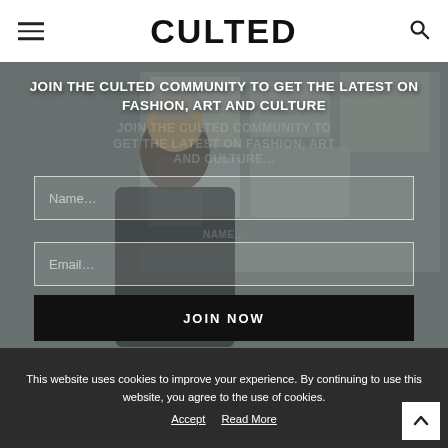CULTED
[Figure (photo): A man (fashion designer/artist) standing in front of sketches and drawings pinned to a wall, used as the hero background image]
JOIN THE CULTED COMMUNITY TO GET THE LATEST ON FASHION, ART AND CULTURE
Name...
Email...
JOIN NOW
This website uses cookies to improve your experience. By continuing to use this website, you agree to the use of cookies.
Accept
Read More